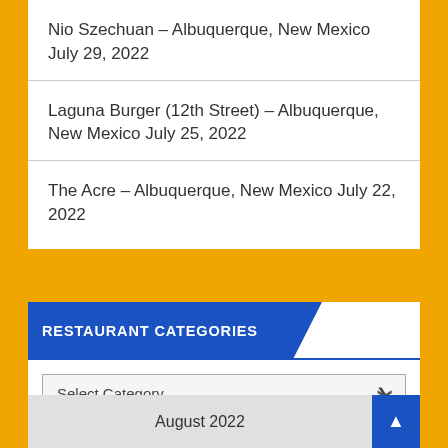Nio Szechuan – Albuquerque, New Mexico July 29, 2022
Laguna Burger (12th Street) – Albuquerque, New Mexico July 25, 2022
The Acre – Albuquerque, New Mexico July 22, 2022
RESTAURANT CATEGORIES
Select Category
August 2022